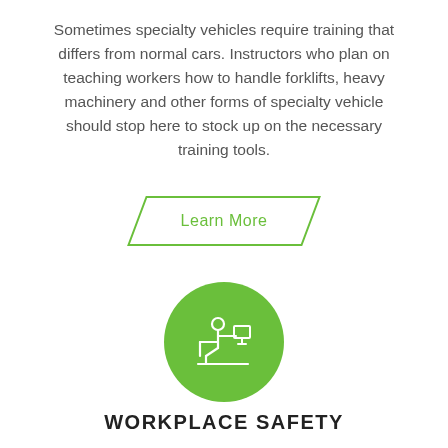Sometimes specialty vehicles require training that differs from normal cars. Instructors who plan on teaching workers how to handle forklifts, heavy machinery and other forms of specialty vehicle should stop here to stock up on the necessary training tools.
[Figure (other): Parallelogram-shaped button with green border and text 'Learn More']
[Figure (illustration): Green circle containing a white icon of a person sitting at a desk/workstation]
WORKPLACE SAFETY